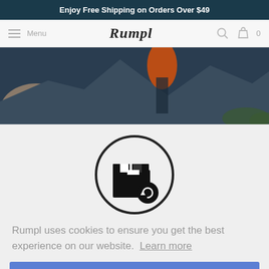Enjoy Free Shipping on Orders Over $49
[Figure (screenshot): Rumpl website navigation bar with hamburger menu icon, 'Menu' text, Rumpl logo in center, search icon, and shopping bag icon with '0' count]
[Figure (photo): Outdoor rocky landscape with orange jacket visible, dark blue sky, person standing on rocks]
[Figure (illustration): Circle icon with a package/box with a circular arrow (returns/refund icon)]
Rumpl uses cookies to ensure you get the best experience on our website.  Learn more
Got it!
[Figure (illustration): Partial circle icon at bottom of page, appears to be another feature icon]